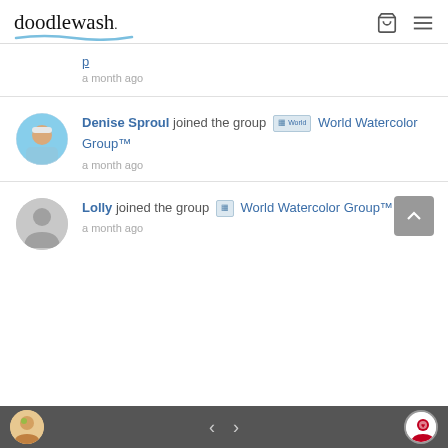doodlewash. [cart icon] [menu icon]
a month ago
Denise Sproul joined the group World Watercolor Group™
a month ago
Lolly joined the group World Watercolor Group™
a month ago